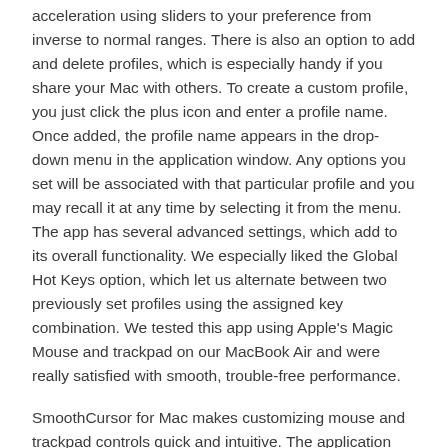acceleration using sliders to your preference from inverse to normal ranges. There is also an option to add and delete profiles, which is especially handy if you share your Mac with others. To create a custom profile, you just click the plus icon and enter a profile name. Once added, the profile name appears in the drop-down menu in the application window. Any options you set will be associated with that particular profile and you may recall it at any time by selecting it from the menu. The app has several advanced settings, which add to its overall functionality. We especially liked the Global Hot Keys option, which let us alternate between two previously set profiles using the assigned key combination. We tested this app using Apple's Magic Mouse and trackpad on our MacBook Air and were really satisfied with smooth, trouble-free performance.
SmoothCursor for Mac makes customizing mouse and trackpad controls quick and intuitive. The application offers good value in an attractive package for anyone who needs to customize and save multiple mouse and trackpad accelerations.